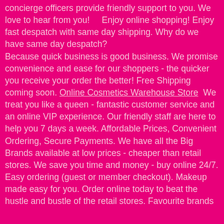concierge officers provide friendly support to you. We love to hear from you!    Enjoy online shopping! Enjoy fast despatch with same day shipping. Why do we have same day despatch? Because quick business is good business. We promise convenience and ease for our shoppers - the quicker you receive your order the better! Free Shipping coming soon. Online Cosmetics Warehouse Store  We treat you like a queen - fantastic customer service and an online VIP experience. Our friendly staff are here to help you 7 days a week. Affordable Prices, Convenient Ordering, Secure Payments. We have all the Big Brands available at low prices - cheaper than retail stores. We save you time and money - buy online 24/7. Easy ordering (guest or member checkout). Makeup made easy for you. Order online today to beat the hustle and bustle of the retail stores. Favourite brands